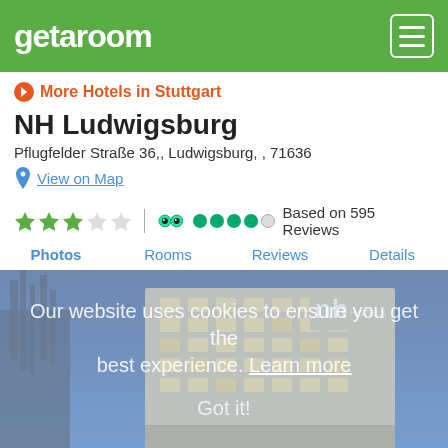getaroom
More Hotels in Stuttgart
NH Ludwigsburg
Pflugfelder Straße 36,, Ludwigsburg, , 71636
View on Map
★★★☆☆ | Based on 595 Reviews
Photos
Rooms
Reviews
Details
[Figure (photo): NH Ludwigsburg hotel building exterior at dusk/night with blue sky, multi-story building with illuminated windows and NH Hotels logo visible]
Our website uses cookies to ensure you get the best experience. Learn more